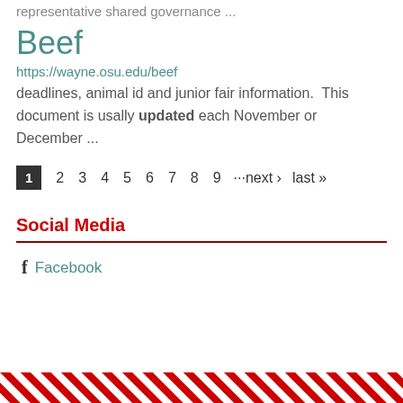representative shared governance ...
Beef
https://wayne.osu.edu/beef
deadlines, animal id and junior fair information.  This document is usally updated each November or December ...
1 2 3 4 5 6 7 8 9 …next › last »
Social Media
Facebook